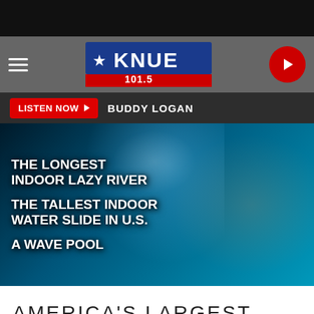[Figure (logo): KNUE 101.5 radio station logo with star and Texas flag colors — blue with white text KNUE and red bar with 101.5]
LISTEN NOW  BUDDY LOGAN
[Figure (photo): Underwater photo of a child swimming with text overlays: THE LONGEST INDOOR LAZY RIVER / THE TALLEST INDOOR WATER SLIDE IN U.S. / A WAVE POOL]
AMERICA'S LARGEST INDOOR